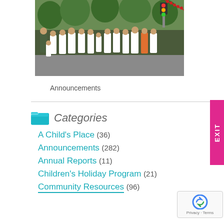[Figure (photo): Group of people wearing white t-shirts posing outdoors on a street, trees in background]
Announcements
Categories
A Child's Place (36)
Announcements (282)
Annual Reports (11)
Children's Holiday Program (21)
Community Resources (96)